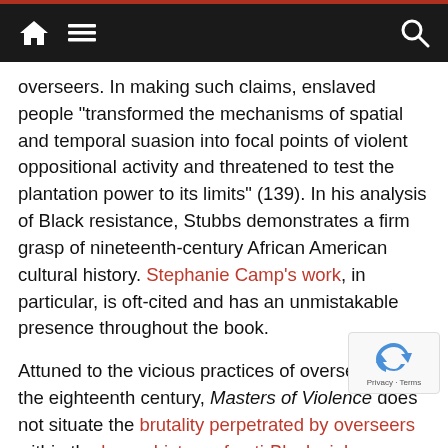Navigation bar with home, menu, and search icons
overseers. In making such claims, enslaved people “transformed the mechanisms of spatial and temporal suasion into focal points of violent oppositional activity and threatened to test the plantation power to its limits” (139). In his analysis of Black resistance, Stubbs demonstrates a firm grasp of nineteenth-century African American cultural history. Stephanie Camp’s work, in particular, is oft-cited and has an unmistakable presence throughout the book.
Attuned to the vicious practices of overseers in the eighteenth century, Masters of Violence does not situate the brutality perpetrated by overseers within the larger history of anti-Black violence during slavery. Here, the book’s Epilogue offers a brief glimpse into the aftermath of overseer violence in Black memory. Drawing a long history of overseer violence from Frederick Douglass’s